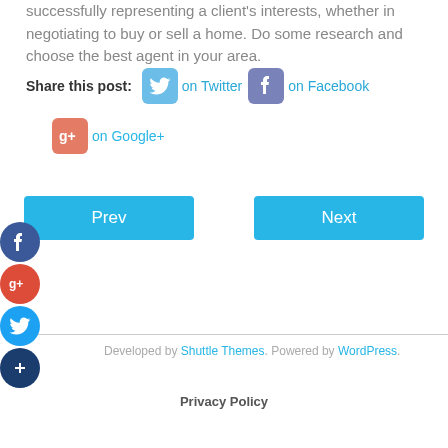successfully representing a client's interests, whether in negotiating to buy or sell a home. Do some research and choose the best agent in your area.
Share this post:  on Twitter  on Facebook  on Google+
Prev
Next
Developed by Shuttle Themes. Powered by WordPress.
Privacy Policy